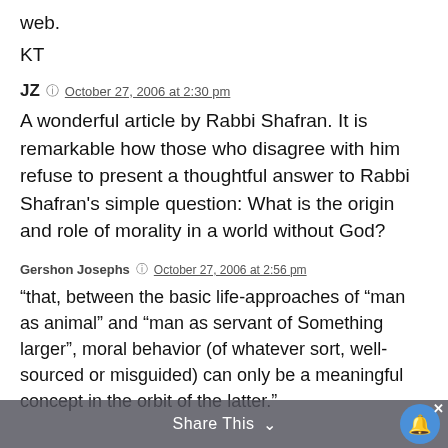web.
KT
JZ  October 27, 2006 at 2:30 pm
A wonderful article by Rabbi Shafran. It is remarkable how those who disagree with him refuse to present a thoughtful answer to Rabbi Shafran's simple question: What is the origin and role of morality in a world without God?
Gershon Josephs  October 27, 2006 at 2:56 pm
“that, between the basic life-approaches of “man as animal” and “man as servant of Something larger”, moral behavior (of whatever sort, well-sourced or misguided) can only be a meaningful concept in the orbit of the latter.”
Share This